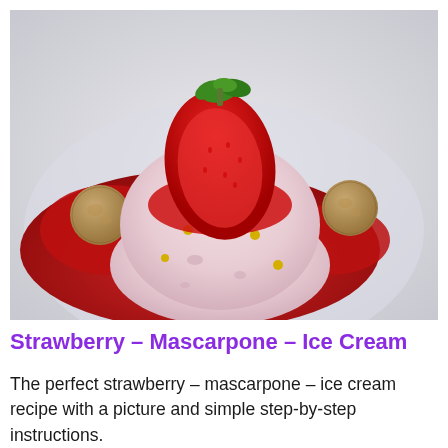[Figure (photo): A strawberry mascarpone ice cream dessert plated on a white dish, topped with a halved fresh strawberry with green stem, decorated with small gold pearl beads, surrounded by red strawberry sauce, with two small amaretti cookies on the sides.]
Strawberry – Mascarpone – Ice Cream
The perfect strawberry – mascarpone – ice cream recipe with a picture and simple step-by-step instructions.